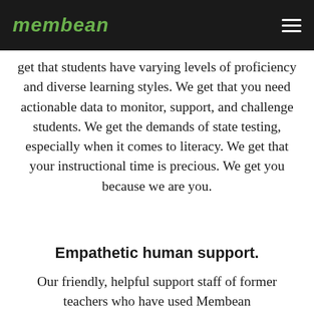membean
get that students have varying levels of proficiency and diverse learning styles. We get that you need actionable data to monitor, support, and challenge students. We get the demands of state testing, especially when it comes to literacy. We get that your instructional time is precious. We get you because we are you.
Empathetic human support.
Our friendly, helpful support staff of former teachers who have used Membean